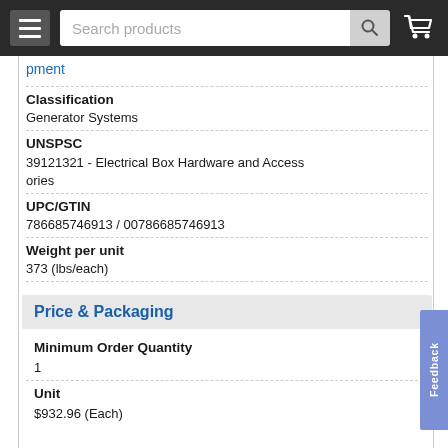Search products
pment
Classification
Generator Systems
UNSPSC
39121321 - Electrical Box Hardware and Accessories
UPC/GTIN
786685746913 / 00786685746913
Weight per unit
373 (lbs/each)
Price & Packaging
Minimum Order Quantity
1
Unit
$932.96 (Each)